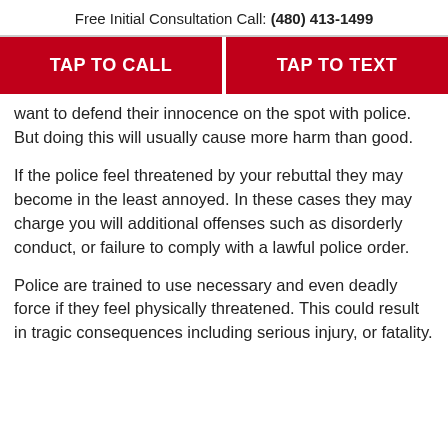Free Initial Consultation Call: (480) 413-1499
[Figure (infographic): Two red call-to-action buttons: TAP TO CALL and TAP TO TEXT]
want to defend their innocence on the spot with police. But doing this will usually cause more harm than good.
If the police feel threatened by your rebuttal they may become in the least annoyed. In these cases they may charge you will additional offenses such as disorderly conduct, or failure to comply with a lawful police order.
Police are trained to use necessary and even deadly force if they feel physically threatened. This could result in tragic consequences including serious injury, or fatality.